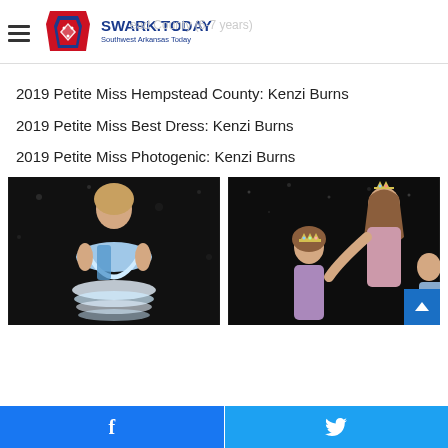SWARK.TODAY — Southwest Arkansas Today
Petite Miss Hempstead County (6-7 years)
2019 Petite Miss Hempstead County: Kenzi Burns
2019 Petite Miss Best Dress: Kenzi Burns
2019 Petite Miss Photogenic: Kenzi Burns
[Figure (photo): Young girl in a blue and white pageant dress on a dark stage background]
[Figure (photo): Crowning ceremony with older girl placing crown on younger girl, dark sparkle backdrop]
Facebook share | Twitter share